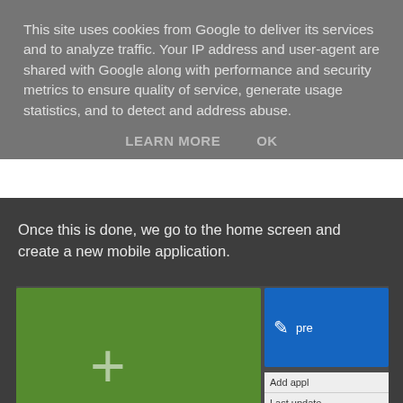This site uses cookies from Google to deliver its services and to analyze traffic. Your IP address and user-agent are shared with Google along with performance and security metrics to ensure quality of service, generate usage statistics, and to detect and address abuse.
LEARN MORE    OK
Once this is done, we go to the home screen and create a new mobile application.
[Figure (screenshot): Screenshot of a mobile application dashboard showing a green 'New Application' card with a plus sign, a partial blue card with a pencil icon and 'pre' text, right panel items including 'Add appl' and 'Last update / DEVELOPM', and a tooltip dialog asking 'What kind of application do you want to create?' with a close button, and a blue input area at the bottom.]